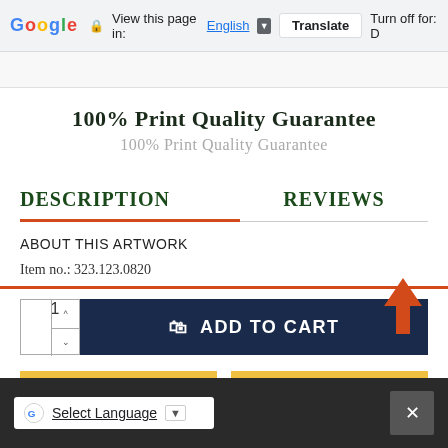Google  View this page in: English  Translate  Turn off for: D
100% Print Quality Guarantee
100% Print Quality Guarantee
DESCRIPTION    REVIEWS
ABOUT THIS ARTWORK
Item no.: 323.123.0820
ADD TO CART
SIZE GUIDE
ASK QUESTION
Select Language  ×